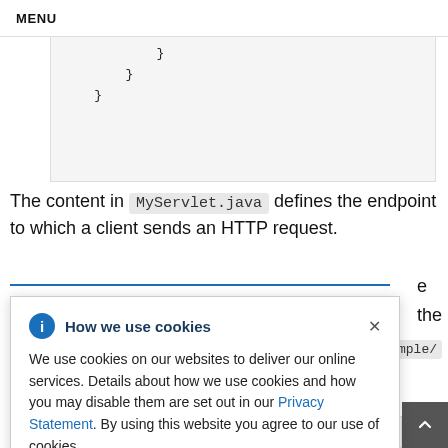MENU
}
  }
}
The content in MyServlet.java defines the endpoint to which a client sends an HTTP request.
How we use cookies
We use cookies on our websites to deliver our online services. Details about how we use cookies and how you may disable them are set out in our Privacy Statement. By using this website you agree to our use of cookies.